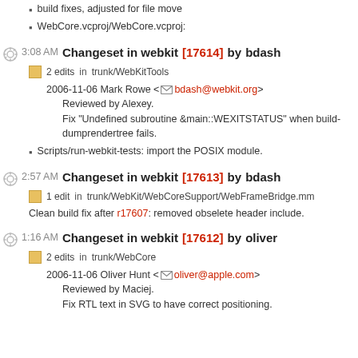build fixes, adjusted for file move
WebCore.vcproj/WebCore.vcproj:
3:08 AM Changeset in webkit [17614] by bdash
2 edits  in trunk/WebKitTools
2006-11-06 Mark Rowe <bdash@webkit.org>
Reviewed by Alexey.
Fix "Undefined subroutine &main::WEXITSTATUS" when build-dumprendertree fails.
Scripts/run-webkit-tests: import the POSIX module.
2:57 AM Changeset in webkit [17613] by bdash
1 edit  in trunk/WebKit/WebCoreSupport/WebFrameBridge.mm
Clean build fix after r17607: removed obselete header include.
1:16 AM Changeset in webkit [17612] by oliver
2 edits  in trunk/WebCore
2006-11-06 Oliver Hunt <oliver@apple.com>
Reviewed by Maciej.
Fix RTL text in SVG to have correct positioning.